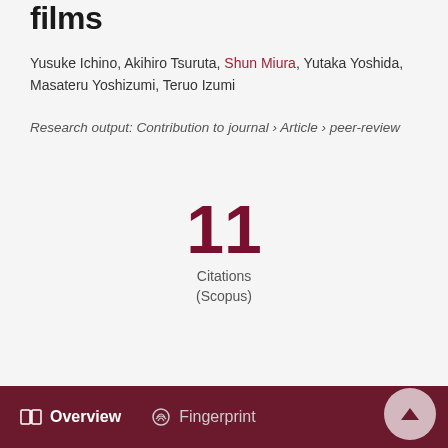films
Yusuke Ichino, Akihiro Tsuruta, Shun Miura, Yutaka Yoshida, Masateru Yoshizumi, Teruo Izumi
Research output: Contribution to journal › Article › peer-review
11 Citations (Scopus)
Overview   Fingerprint